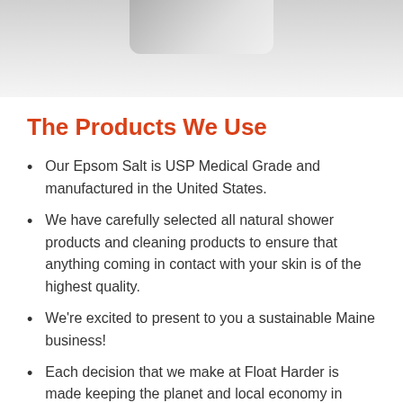[Figure (photo): Partial view of a metallic or chrome object, likely a float tank or spa equipment, shown from below against a light gray background.]
The Products We Use
Our Epsom Salt is USP Medical Grade and manufactured in the United States.
We have carefully selected all natural shower products and cleaning products to ensure that anything coming in contact with your skin is of the highest quality.
We're excited to present to you a sustainable Maine business!
Each decision that we make at Float Harder is made keeping the planet and local economy in mind.